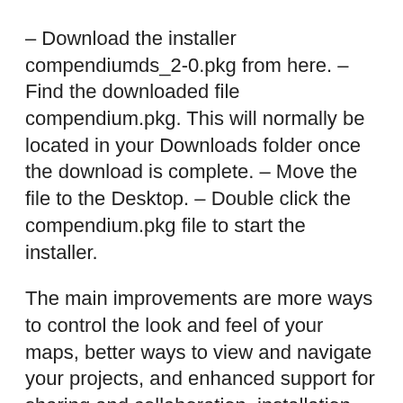– Download the installer compendiumds_2-0.pkg from here. – Find the downloaded file compendium.pkg. This will normally be located in your Downloads folder once the download is complete. – Move the file to the Desktop. – Double click the compendium.pkg file to start the installer.
The main improvements are more ways to control the look and feel of your maps, better ways to view and navigate your projects, and enhanced support for sharing and collaboration. installation information release notes download source code. Compendium 1.5.1 Beta 2 Manage your mods and addons with the CurseForge desktop app for Windows and macOS.
Socialliberalisme statens rolle